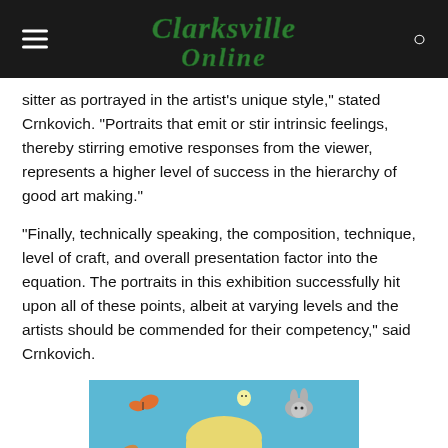Clarksville Online
sitter as portrayed in the artist's unique style," stated Crnkovich. "Portraits that emit or stir intrinsic feelings, thereby stirring emotive responses from the viewer, represents a higher level of success in the hierarchy of good art making."
"Finally, technically speaking, the composition, technique, level of craft, and overall presentation factor into the equation. The portraits in this exhibition successfully hit upon all of these points, albeit at varying levels and the artists should be commended for their competency," said Crnkovich.
[Figure (photo): A young blonde child surrounded by illustrated animals (rabbit, butterfly, small bird/ghost) on a teal background – partial image cut off at bottom of page.]